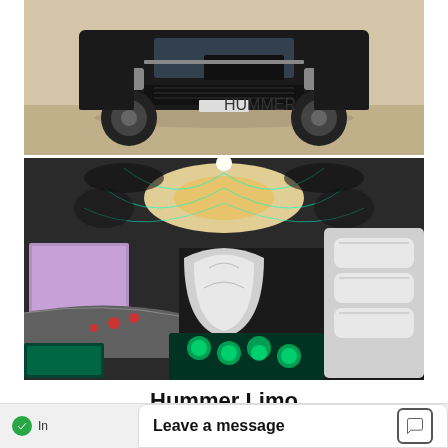[Figure (photo): Black Hummer H2 limousine exterior view from front, parked on pavement in sunlight]
[Figure (photo): Interior of a Hummer limousine showing white leather seats, LED lighting on ceiling with swirling patterns, green illuminated floor, bar area with monitors on the left side]
Hummer Limo
Leave a message